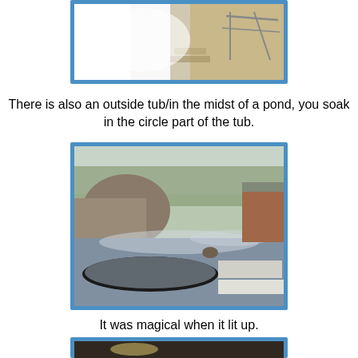[Figure (photo): Partial view of an indoor hot spring bath area with bright light, steam, and railing steps visible]
There is also an outside tub/in the midst of a pond, you soak in the circle part of the tub.
[Figure (photo): Outdoor hot spring (onsen) tub in the middle of a steaming pond surrounded by trees and rocks, with circular soaking area and rectangular steps visible]
It was magical when it lit up.
[Figure (photo): Partial view of an outdoor scene, bottom portion cut off]